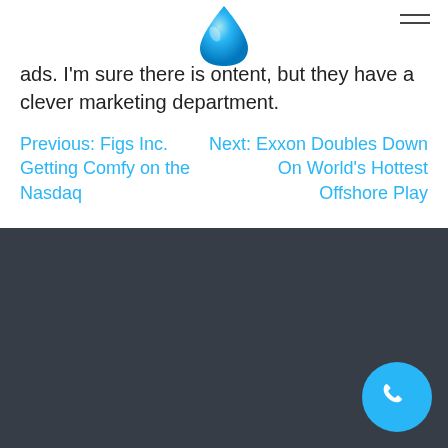[Figure (logo): Blue water droplet logo]
ads. I'm sure there is ontent, but they have a clever marketing department.
Previous: Figs Inc. Getting Comfy on the Nasdaq
Next: Exxon Doubles Down On World's Hottest Offshore Play
QUICK LINKS
About Us
Contact Us
Terms and Conditions